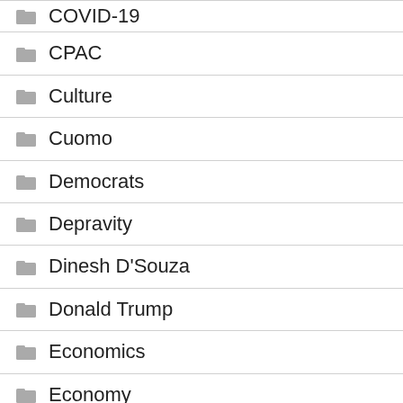COVID-19
CPAC
Culture
Cuomo
Democrats
Depravity
Dinesh D'Souza
Donald Trump
Economics
Economy